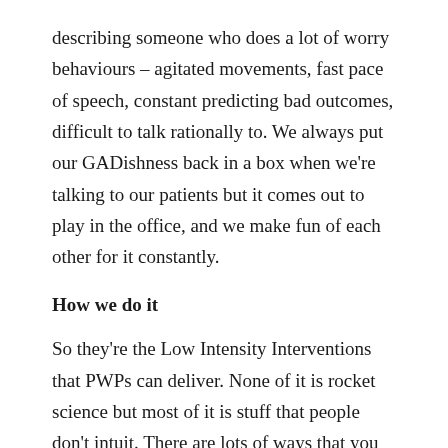describing someone who does a lot of worry behaviours – agitated movements, fast pace of speech, constant predicting bad outcomes, difficult to talk rationally to. We always put our GADishness back in a box when we're talking to our patients but it comes out to play in the office, and we make fun of each other for it constantly.
How we do it
So they're the Low Intensity Interventions that PWPs can deliver. None of it is rocket science but most of it is stuff that people don't intuit. There are lots of ways that you can get your hands on this information, and lots of ways that PWPs deliver it.